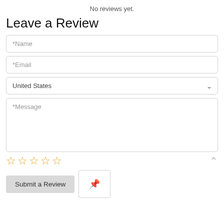No reviews yet.
Leave a Review
*Name
*Email
United States
*Message
[Figure (other): Five empty star rating icons in orange outline]
Submit a Review